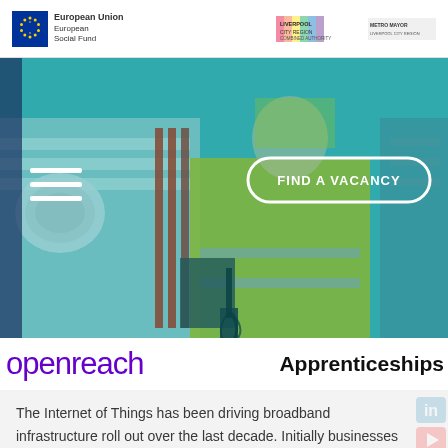European Union European Social Fund | Liverpool City Region | Metro Mayor
[Figure (screenshot): Hero image of an Openreach engineer in a high-visibility yellow jacket working with cables and equipment from a van, with teal/cyan color overlay. Hamburger menu icon on left, 'FIND A VACANCY' button on right.]
openreach   Apprenticeships
The Internet of Things has been driving broadband infrastructure roll out over the last decade. Initially businesses were the priority. Now, roll our embraces homes and communities. Openreach is looking to apprenticeships in delivering the fourth utility.